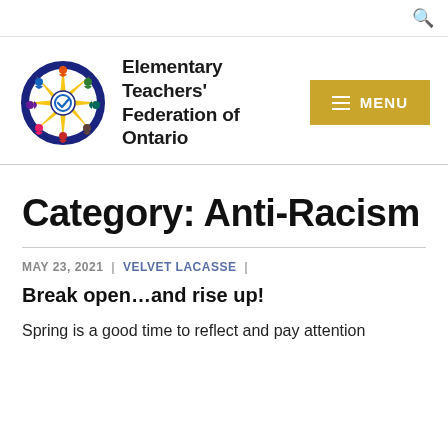[Figure (logo): Elementary Teachers' Federation of Ontario colorful circular logo with diverse figures]
Elementary Teachers' Federation of Ontario
[Figure (other): Gold/yellow MENU button with hamburger icon]
Category: Anti-Racism
MAY 23, 2021 | VELVET LACASSE |
Break open…and rise up!
Spring is a good time to reflect and pay attention